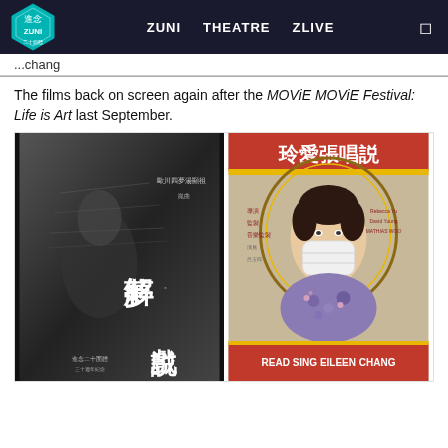ZUNI   THEATRE   ZLIVE
...chang
The films back on screen again after the MOViE MOViE Festival: Life is Art last September.
[Figure (photo): Two film posters side by side. Left: black and white poster with Chinese characters '解夢。説戲' and a performer. Right: colorful vintage-style poster '玲愛張唱説' featuring a woman in a mask and qipao, with text 'READ SING EILEEN CHANG' at the bottom.]